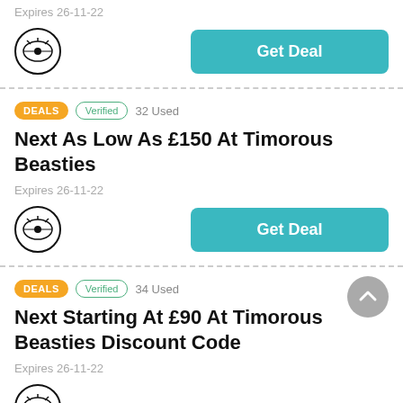Expires 26-11-22
DEALS  Verified  32 Used
Next As Low As £150 At Timorous Beasties
Expires 26-11-22
Get Deal
DEALS  Verified  34 Used
Next Starting At £90 At Timorous Beasties Discount Code
Expires 26-11-22